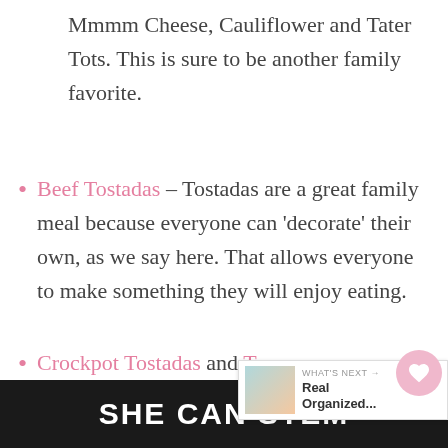Mmmm Cheese, Cauliflower and Tater Tots. This is sure to be another family favorite.
Beef Tostadas – Tostadas are a great family meal because everyone can 'decorate' their own, as we say here. That allows everyone to make something they will enjoy eating.
Crockpot Tostadas and Tostada Shells – another version of
[Figure (screenshot): UI elements: heart icon button (pink circle), share icon button (gray circle), and 'WHAT'S NEXT' card with thumbnail and 'Real Organized...' text]
[Figure (infographic): Dark bottom banner with white bold text reading 'SHE CAN STEM']